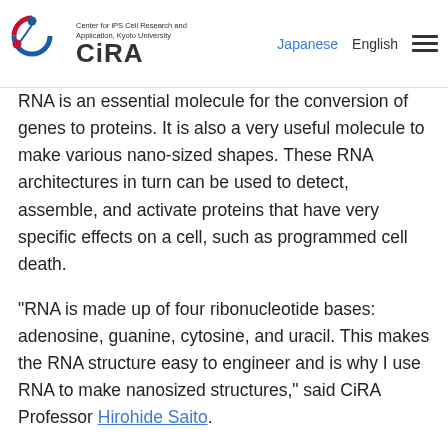Center for iPS Cell Research and Application, Kyoto University | CiRA | Japanese | English
RNA is an essential molecule for the conversion of genes to proteins. It is also a very useful molecule to make various nano-sized shapes. These RNA architectures in turn can be used to detect, assemble, and activate proteins that have very specific effects on a cell, such as programmed cell death.
"RNA is made up of four ribonucleotide bases: adenosine, guanine, cytosine, and uracil. This makes the RNA structure easy to engineer and is why I use RNA to make nanosized structures," said CiRA Professor Hirohide Saito.
Regardless of how much protein is in the cell, to function properly, many proteins must assemble into complexes with other proteins or nucleic acids like RNA. Therefore